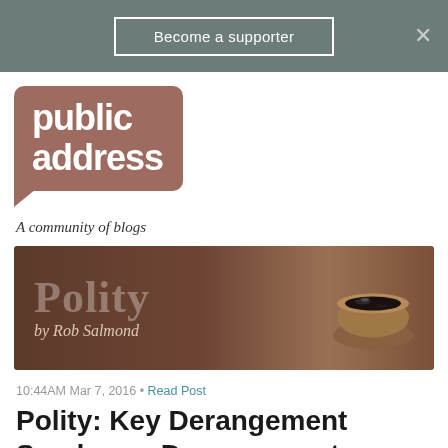Become a supporter
[Figure (logo): Public Address logo — rounded rectangle in muted rose/brown with white bold text reading 'public address', speech-bubble shape with tail at bottom-left, tagline 'A community of blogs' in italic below]
[Figure (illustration): Polity blog banner — dark brown background with large semi-transparent 'Polity' serif text, 'by Rob Salmond' below in italic, and a decorative bowl/mortar object on the right side]
10:44AM Mar 7, 2016 • Read Post
Polity: Key Derangement Syndrome Derangement Syndrome
106 RESPONSES    Subscribe by